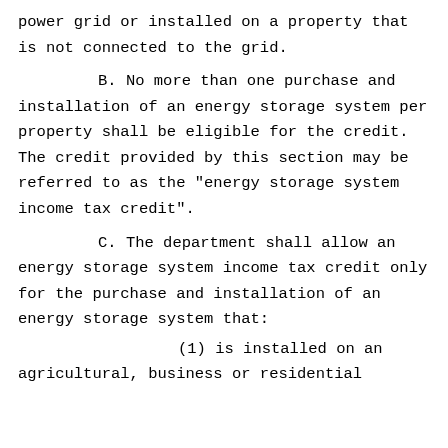power grid or installed on a property that is not connected to the grid.
B. No more than one purchase and installation of an energy storage system per property shall be eligible for the credit. The credit provided by this section may be referred to as the "energy storage system income tax credit".
C. The department shall allow an energy storage system income tax credit only for the purchase and installation of an energy storage system that:
(1) is installed on an agricultural, business or residential